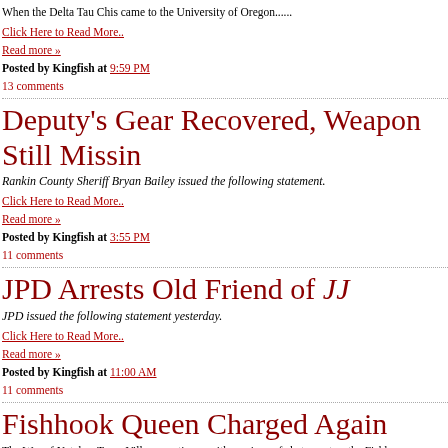When the Delta Tau Chis came to the University of Oregon......
Click Here to Read More..
Read more »
Posted by Kingfish at 9:59 PM
13 comments
Deputy's Gear Recovered, Weapon Still Missing
Rankin County Sheriff Bryan Bailey issued the following statement.
Click Here to Read More..
Read more »
Posted by Kingfish at 3:55 PM
11 comments
JPD Arrests Old Friend of JJ
JPD issued the following statement yesterday.
Click Here to Read More..
Read more »
Posted by Kingfish at 11:00 AM
11 comments
Fishhook Queen Charged Again
The War of Natchez Trace Village continues with no signs of abatement as the Fishh